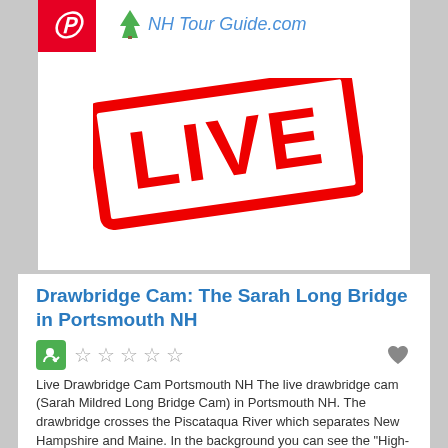NH Tour Guide.com
[Figure (screenshot): A 'LIVE' stamp graphic in red, rotated slightly, with a red border rectangle and bold white LIVE text inside, on a white background card.]
Drawbridge Cam: The Sarah Long Bridge in Portsmouth NH
Live Drawbridge Cam Portsmouth NH The live drawbridge cam (Sarah Mildred Long Bridge Cam) in Portsmouth NH. The drawbridge crosses the Piscataqua River which separates New Hampshire and Maine. In the background you can see the "High-Level Bridge" on I-95 that connects NH and Maine. The live cam images are Read more...